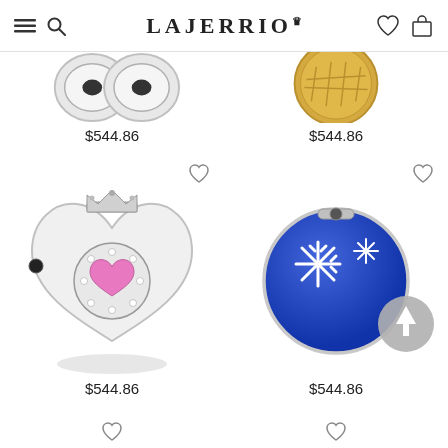LAJERRIO
[Figure (photo): Partial view of silver charm bracelet clips, top-left product]
[Figure (photo): Partial view of gold decorative charm, top-right product]
$544.86
$544.86
[Figure (photo): Silver heart charm with crown and pink gemstone center, sterling silver]
[Figure (photo): Blue enamel round charm with silver snowflake design]
$544.86
$544.86